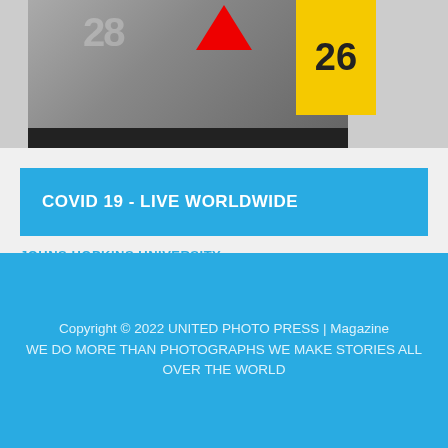[Figure (photo): Photo of book/magazine covers with numbers and a red arrow element, dark bar at bottom]
COVID 19 - LIVE WORLDWIDE
JOHNS HOPKINS UNIVERSITY
Copyright © 2022 UNITED PHOTO PRESS | Magazine WE DO MORE THAN PHOTOGRAPHS WE MAKE STORIES ALL OVER THE WORLD